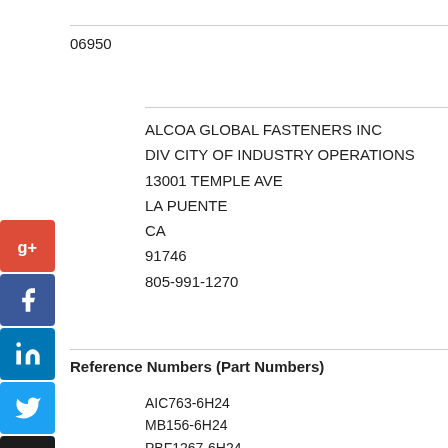06950
ALCOA GLOBAL FASTENERS INC
DIV CITY OF INDUSTRY OPERATIONS
13001 TEMPLE AVE
LA PUENTE
CA
91746
805-991-1270
Reference Numbers (Part Numbers)
AIC763-6H24
MB156-6H24
PBF1267-6H24
ST3M753-6H24
ST3M753-6H24
ST3M753-6H24;